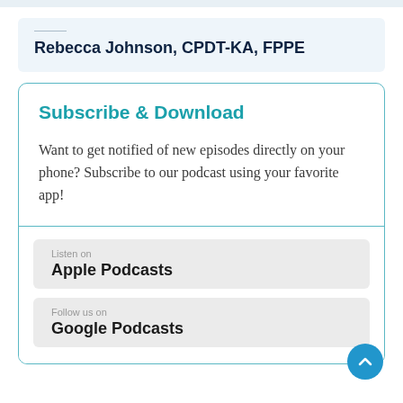Rebecca Johnson, CPDT-KA, FPPE
Subscribe & Download
Want to get notified of new episodes directly on your phone? Subscribe to our podcast using your favorite app!
Listen on
Apple Podcasts
Follow us on
Google Podcasts